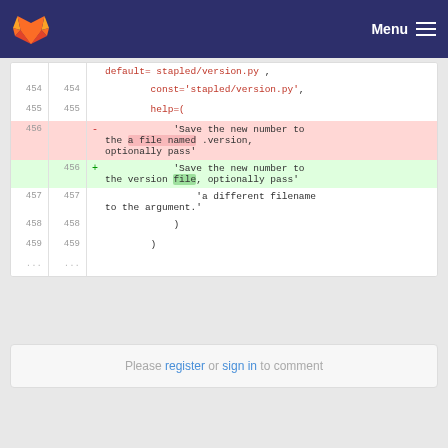GitLab navigation bar with logo and Menu
[Figure (screenshot): Code diff view showing lines 454-459 of a Python file with a deleted line 456 (red) and added line 456 (green). The deleted line reads: 'Save the new number to the a file named .version, optionally pass'. The added line reads: 'Save the new number to the version file, optionally pass'. Surrounding context lines show const='stapled/version.py', help=(, 'a different filename to the argument.', ), )]
Please register or sign in to comment